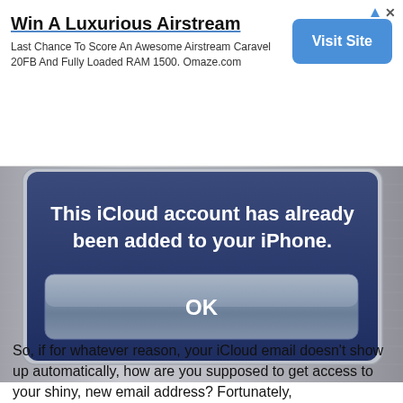[Figure (screenshot): Ad banner: Win A Luxurious Airstream - Last Chance To Score An Awesome Airstream Caravel 20FB And Fully Loaded RAM 1500. Omaze.com with a blue Visit Site button]
[Figure (screenshot): iOS dialog screenshot showing: 'This iCloud account has already been added to your iPhone.' with an OK button, displayed on a metallic gray background]
So, if for whatever reason, your iCloud email doesn't show up automatically, how are you supposed to get access to your shiny, new email address? Fortunately,